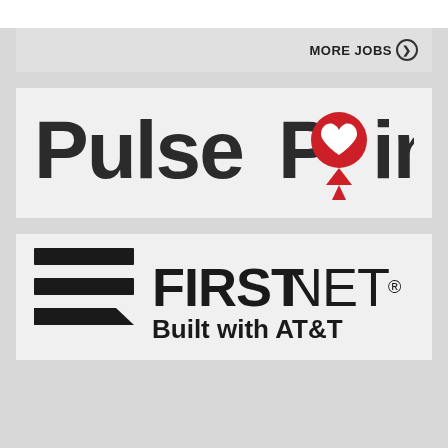MORE JOBS ❯
[Figure (logo): PulsePoint logo — bold dark text 'PulsePoint' with the letter O replaced by a red heart-shaped map pin containing a white heartbeat/EKG line]
[Figure (logo): FirstNet Built with AT&T logo — three stacked horizontal black bars (decreasing length, bottom bar angled right like a speech bubble tail) beside bold text 'FIRSTNET.' with 'Built with AT&T' below in bold]